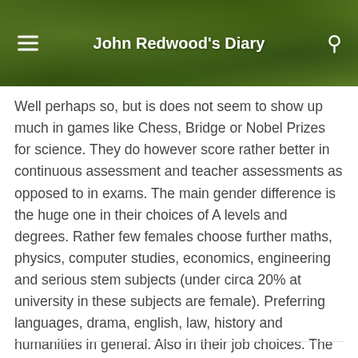John Redwood's Diary
Well perhaps so, but is does not seem to show up much in games like Chess, Bridge or Nobel Prizes for science. They do however score rather better in continuous assessment and teacher assessments as opposed to in exams. The main gender difference is the huge one in their choices of A levels and degrees. Rather few females choose further maths, physics, computer studies, economics, engineering and serious stem subjects (under circa 20% at university in these subjects are female). Preferring languages, drama, english, law, history and humanities in general. Also in their job choices. The state sector jobs are heavily female (teaching is now ~ 76% female over 3 females to every male teacher.